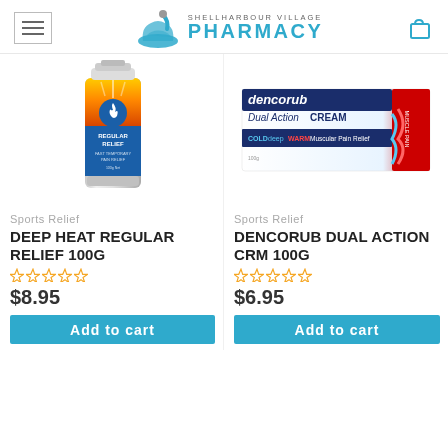Shellharbour Village Pharmacy
[Figure (photo): Deep Heat Regular Relief 100g tube product image - orange and white tube with blue flame logo]
[Figure (photo): Dencorub Dual Action Cream 100g box - blue, white and red packaging with cold/warm muscle pain relief branding]
Sports Relief
DEEP HEAT REGULAR RELIEF 100G
$8.95
Sports Relief
DENCORUB DUAL ACTION CRM 100G
$6.95